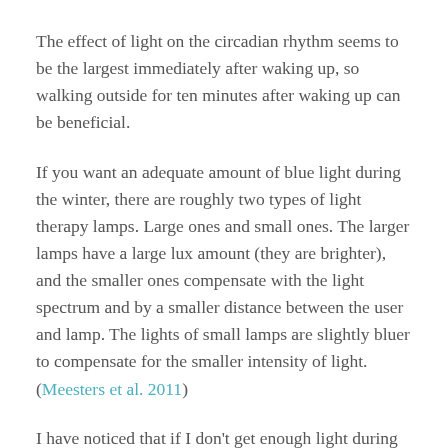The effect of light on the circadian rhythm seems to be the largest immediately after waking up, so walking outside for ten minutes after waking up can be beneficial.
If you want an adequate amount of blue light during the winter, there are roughly two types of light therapy lamps. Large ones and small ones. The larger lamps have a large lux amount (they are brighter), and the smaller ones compensate with the light spectrum and by a smaller distance between the user and lamp. The lights of small lamps are slightly bluer to compensate for the smaller intensity of light. (Meesters et al. 2011)
I have noticed that if I don’t get enough light during the first 1-2 hours after waking, I’ll stay more or less sleepy for the rest of the day.
Sufficient blue light during the day might be